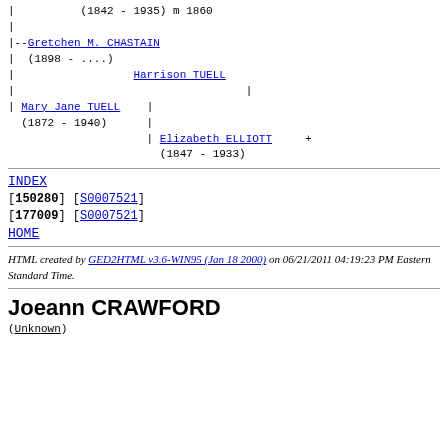| (1842 - 1935) m 1860
|
|--Gretchen M. CHASTAIN
| (1898 - ....)
| Harrison TUELL
|
| Mary Jane TUELL |
 (1872 - 1940) |
 | Elizabeth ELLIOTT +
 (1847 - 1933)
INDEX
[150280] [S0007521]
[177009] [S0007521]
HOME
HTML created by GED2HTML v3.6-WIN95 (Jan 18 2000) on 06/21/2011 04:19:23 PM Eastern Standard Time.
Joeann CRAWFORD
(Unknown)